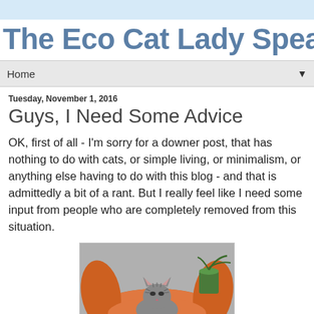The Eco Cat Lady Speaks
Home
Tuesday, November 1, 2016
Guys, I Need Some Advice
OK, first of all - I'm sorry for a downer post, that has nothing to do with cats, or simple living, or minimalism, or anything else having to do with this blog - and that is admittedly a bit of a rant. But I really feel like I need some input from people who are completely removed from this situation.
[Figure (photo): A cat resting in an orange cat bed, with a small green potted plant visible in the background against a grey wall.]